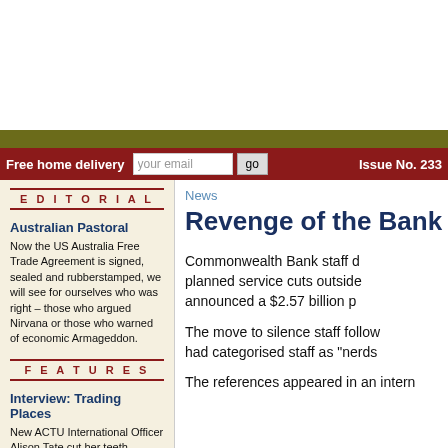Free home delivery   your email   go   Issue No. 233
EDITORIAL
Australian Pastoral
Now the US Australia Free Trade Agreement is signed, sealed and rubberstamped, we will see for ourselves who was right – those who argued Nirvana or those who warned of economic Armageddon.
FEATURES
Interview: Trading Places
New ACTU International Officer Alison Tate cut her teeth
News
Revenge of the Bank
Commonwealth Bank staff d... planned service cuts outside... announced a $2.57 billion p...
The move to silence staff follow... had categorised staff as "nerds...
The references appeared in an intern...